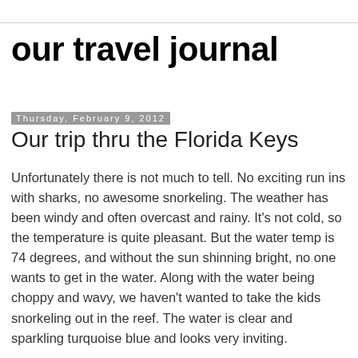our travel journal
Thursday, February 9, 2012
Our trip thru the Florida Keys
Unfortunately there is not much to tell.  No exciting run ins with sharks, no awesome snorkeling.  The weather has been windy and often overcast and rainy.  It’s not cold, so the temperature is quite pleasant.  But the water temp is 74 degrees, and without the sun shinning bright, no one wants to get in the water.  Along with the water being choppy and wavy, we haven’t wanted to take the kids snorkeling out in the reef.  The water is clear and sparkling turquoise blue and looks very inviting.
On Day 1 we travelled a few hours from Hollywood, FL, to No Name Harbor on Key Biscayne. Of course we saw dolphins along the way.  This key has a great view of the Miami Skyline.  We went ashore and hiked around the state